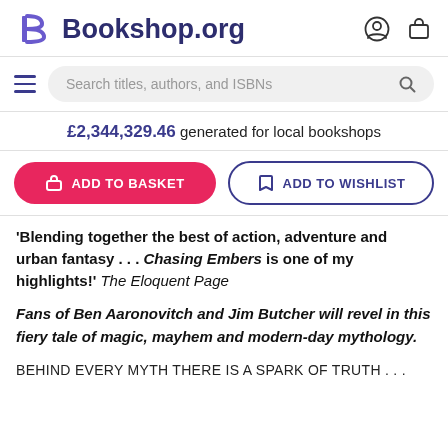Bookshop.org
Search titles, authors, and ISBNs
£2,344,329.46 generated for local bookshops
ADD TO BASKET
ADD TO WISHLIST
'Blending together the best of action, adventure and urban fantasy . . . Chasing Embers is one of my highlights!' The Eloquent Page
Fans of Ben Aaronovitch and Jim Butcher will revel in this fiery tale of magic, mayhem and modern-day mythology.
BEHIND EVERY MYTH THERE IS A SPARK OF TRUTH . . .